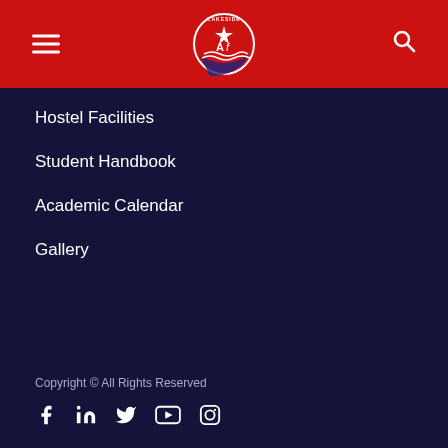Lakeside school navigation header with logo and hamburger menu
Hostel Facilities
Student Handbook
Academic Calendar
Gallery
Copyright © All Rights Reserved
[Figure (other): Social media icons: Facebook, LinkedIn, Twitter, YouTube, Instagram]